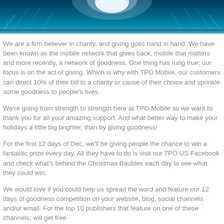[Figure (photo): Blue festive/winter themed banner image at the top of the page with icy blue texture and a partial circular logo element at the top center.]
We are a firm believer in charity, and giving goes hand in hand. We have been known as the mobile network that gives back, mobile that matters and more recently, a network of goodness. One thing has rung true; our focus is on the act of giving. Which is why with TPO Mobile, our customers can direct 10% of their bill to a charity or cause of their choice and sprinkle some goodness to people's lives.
We're going from strength to strength here at TPO Mobile so we want to thank you for all your amazing support. And what better way to make your holidays a little big brighter, than by giving goodness!
For the first 12 days of Dec, we'll be giving people the chance to win a fantastic prize every day. All they have to do is visit our TPO US Facebook and check what's behind the Christmas Baubles each day to see what they could win.
We would love if you could help us spread the word and feature our 12 days of goodness competition on your website, blog, social channels and/or email. For the top 10 publishers that feature on one of these channels, will get free